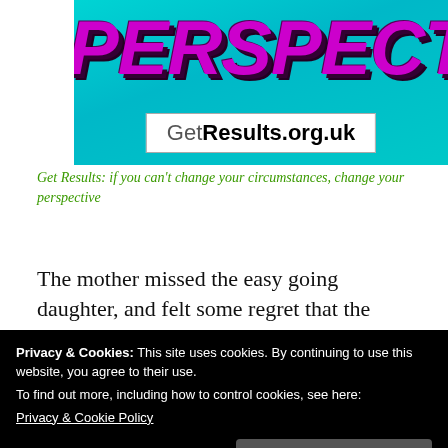[Figure (illustration): Website banner with teal/cyan gradient background showing 'PERSPECTIVE' in large purple 3D italic text, and a white box with 'GetResults.org.uk' URL below]
Get Results: if you can't change your circumstances, change your perspective
The mother missed the easy going daughter, and felt some regret that the second daughter
Privacy & Cookies: This site uses cookies. By continuing to use this website, you agree to their use.
To find out more, including how to control cookies, see here:
Privacy & Cookie Policy
Close and accept
for what she could learn from her to be a better